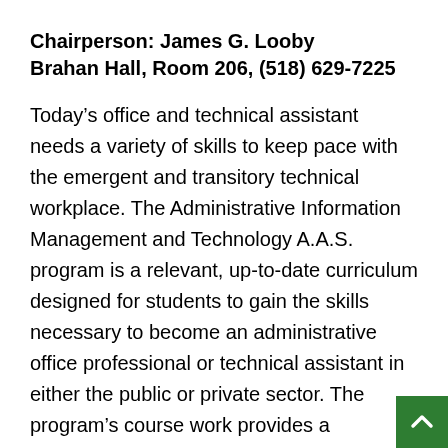Chairperson: James G. Looby
Brahan Hall, Room 206, (518) 629-7225
Today’s office and technical assistant needs a variety of skills to keep pace with the emergent and transitory technical workplace. The Administrative Information Management and Technology A.A.S. program is a relevant, up-to-date curriculum designed for students to gain the skills necessary to become an administrative office professional or technical assistant in either the public or private sector. The program’s course work provides a foundation in information management and technology that includes document